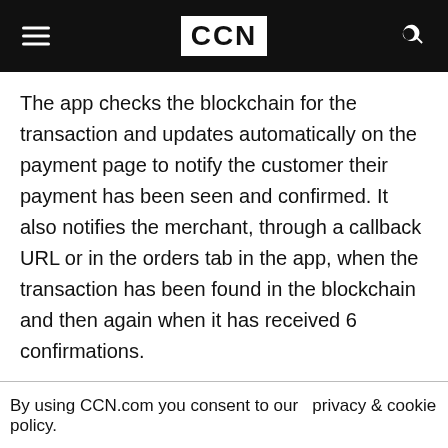CCN
The app checks the blockchain for the transaction and updates automatically on the payment page to notify the customer their payment has been seen and confirmed. It also notifies the merchant, through a callback URL or in the orders tab in the app, when the transaction has been found in the blockchain and then again when it has received 6 confirmations.
By using CCN.com you consent to our  privacy & cookie policy.
Continue